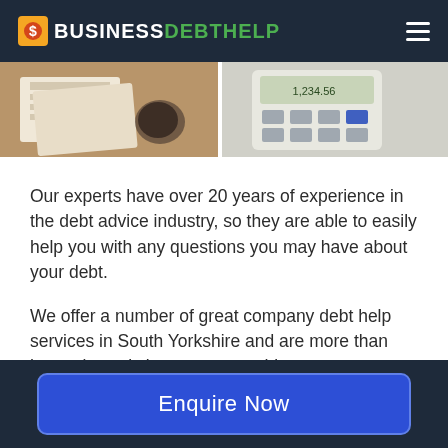BUSINESSDEBTHELP
[Figure (photo): Two photos side by side: left shows paperwork/documents on a desk, right shows a calculator]
Our experts have over 20 years of experience in the debt advice industry, so they are able to easily help you with any questions you may have about your debt.
We offer a number of great company debt help services in South Yorkshire and are more than happy in assisting you on anything you are unsure about.
Get in touch with one of our professionals
Enquire Now